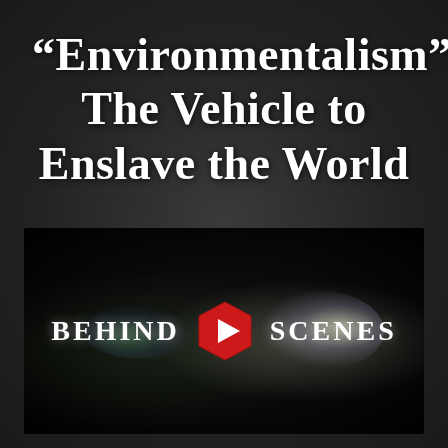“Environmentalism”: The Vehicle to Enslave the World
[Figure (screenshot): Video thumbnail showing 'Behind Scenes' logo with a red hexagonal play button in the center, lens flares on dark background]